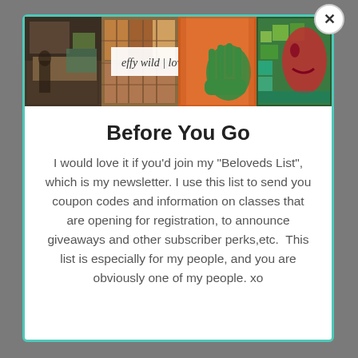[Figure (illustration): Banner image with colorful artistic panels including photography and paintings, with cursive text 'effy wild | love & glitter' overlaid on a white banner in the center]
Before You Go
I would love it if you'd join my "Beloveds List", which is my newsletter. I use this list to send you coupon codes and information on classes that are opening for registration, to announce giveaways and other subscriber perks,etc.  This list is especially for my people, and you are obviously one of my people. xo